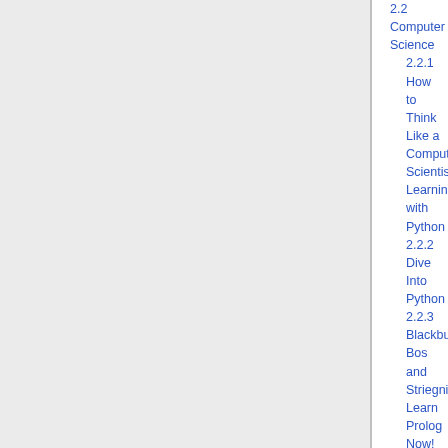2.2 Computer Science
2.2.1 How to Think Like a Computer Scientist: Learning with Python
2.2.2 Dive Into Python
2.2.3 Blackburn, Bos and Striegnitz: Learn Prolog Now!
2.2.4 Covington: Prolog Programming in Depth
2.2.5 J. Tang: Write Yourself a Scheme in 48 Hours
2.3 Computational Linguistics
2.3.1 Blackburn and Striegnitz: Natural Language Processing Techniques in Prolog
3 Code
3.1 LaTeX
3.1.1 Tübinger Sprüchle
3.2 Student Projects
3.2.1 A Reimplementation of the WERTi System
3.3 Java Libraries around NLP
3.3.1 Levenshtein Distance
3.3.2 NLP Pipeline Components
4 Web and Miscellaneous Resources
4.1 Linguistics